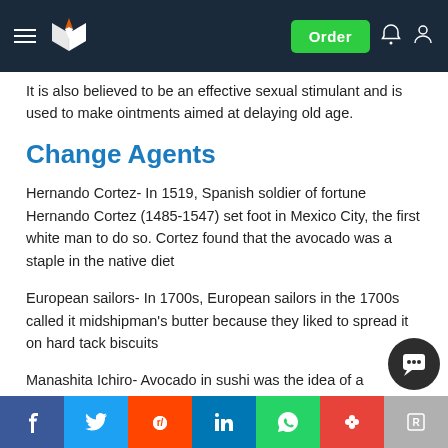Navigation bar with logo and Order button
It is also believed to be an effective sexual stimulant and is used to make ointments aimed at delaying old age.
Change Agents
Hernando Cortez- In 1519, Spanish soldier of fortune Hernando Cortez (1485-1547) set foot in Mexico City, the first white man to do so. Cortez found that the avocado was a staple in the native diet
European sailors- In 1700s, European sailors in the 1700s called it midshipman’s butter because they liked to spread it on hard tack biscuits
Manashita Ichiro- Avocado in sushi was the idea of a Japanese chef Manashita Ichiro in Los Angeles about years ago because it offered a